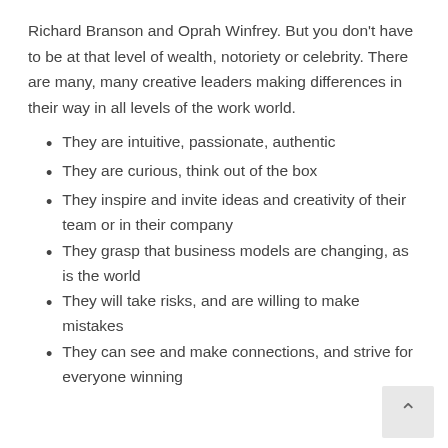Richard Branson and Oprah Winfrey. But you don't have to be at that level of wealth, notoriety or celebrity. There are many, many creative leaders making differences in their way in all levels of the work world.
They are intuitive, passionate, authentic
They are curious, think out of the box
They inspire and invite ideas and creativity of their team or in their company
They grasp that business models are changing, as is the world
They will take risks, and are willing to make mistakes
They can see and make connections, and strive for everyone winning